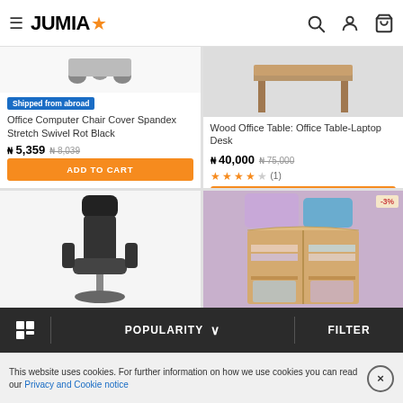JUMIA (logo with star) — navigation header with menu, search, account, cart icons
[Figure (screenshot): Product card 1: Office Computer Chair Cover Spandex Stretch Swivel Rot Black. Badge: Shipped from abroad. Price: ₦ 5,359 ₦ 8,039. ADD TO CART button.]
[Figure (screenshot): Product card 2: Wood Office Table: Office Table-Laptop Desk. Price: ₦ 40,000 ₦ 75,000. Rating: 4 stars (1). ADD TO CART button.]
[Figure (screenshot): Product card 3: Office chair image (black mesh high-back chair).]
[Figure (screenshot): Product card 4: Wardrobe/closet with luggage on top. -3% discount badge.]
POPULARITY ∨   FILTER — bottom navigation bar with grid icon
This website uses cookies. For further information on how we use cookies you can read our Privacy and Cookie notice